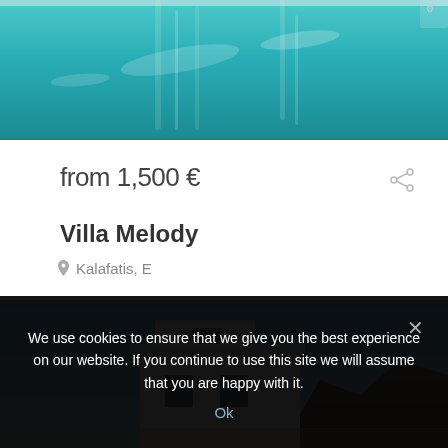[Figure (photo): Swimming pool with turquoise water, partial view from above]
from 1,500 €
Villa Melody
Kalafatis, E
5 Bedrooms
[Figure (photo): White Cycladic villa exterior against a clear blue sky with rocky hillside]
We use cookies to ensure that we give you the best experience on our website. If you continue to use this site we will assume that you are happy with it.
Ok